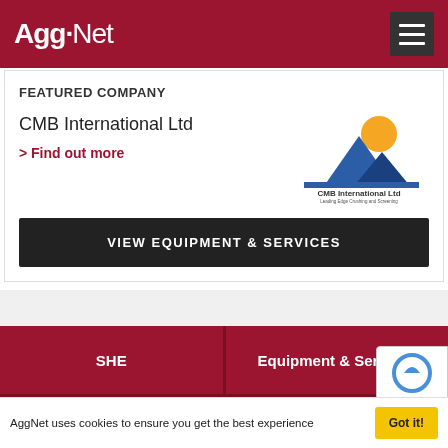Agg-Net
FEATURED COMPANY
CMB International Ltd
> Find out more
[Figure (logo): CMB International Ltd logo with mountain and sun graphic]
VIEW EQUIPMENT & SERVICES
SHE
Equipment & Services
Aggregate Products
Consultants
Organisations
People
AggNet uses cookies to ensure you get the best experience
Got it!